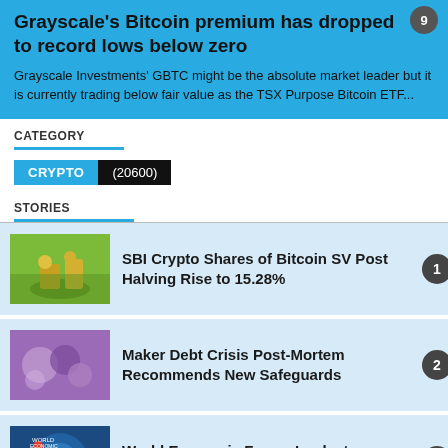Grayscale's Bitcoin premium has dropped to record lows below zero
Grayscale Investments' GBTC might be the absolute market leader but it is currently trading below fair value as the TSX Purpose Bitcoin ETF...
CATEGORY
CRYPTO (20600)
STORIES
SBI Crypto Shares of Bitcoin SV Post Halving Rise to 15.28%
Maker Debt Crisis Post-Mortem Recommends New Safeguards
World Economic Forum Looks to Blockchain to Restart Global Economy
DLive Joins BitTorrent Ecosystem to Make Blockchain-